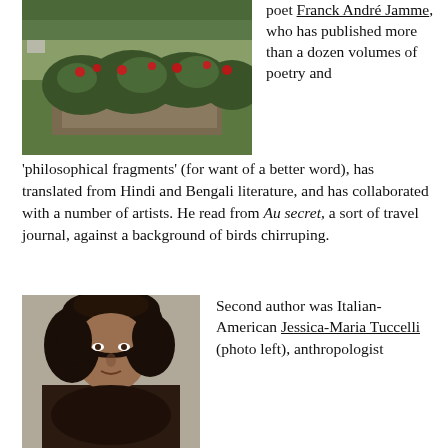[Figure (photo): Outdoor garden photo showing rose bushes with sparse foliage and red roses against a green lawn background]
poet Franck André Jamme, who has published more than a dozen volumes of poetry and 'philosophical fragments' (for want of a better word), has translated from Hindi and Bengali literature, and has collaborated with a number of artists. He read from Au secret, a sort of travel journal, against a background of birds chirruping.
[Figure (photo): Portrait photo of a woman with curly dark brown hair, Italian-American Jessica-Maria Tuccelli]
Second author was Italian-American Jessica-Maria Tuccelli (photo left), anthropologist